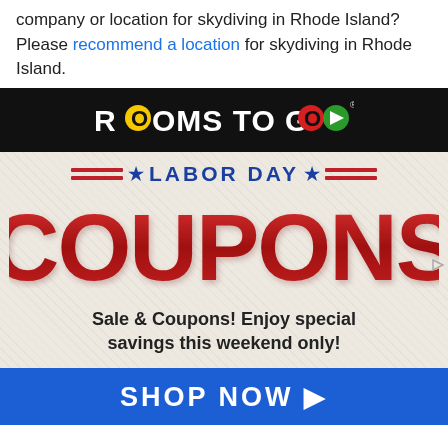company or location for skydiving in Rhode Island? Please recommend a location for skydiving in Rhode Island.
[Figure (screenshot): Rooms To Go advertisement banner. Black header with Rooms To Go logo featuring colored circles (red, yellow, green). Main body on textured off-white background: 'LABOR DAY' in blue with red star decorations, 'COUPONS' in large red gradient text, 'Sale & Coupons! Enjoy special savings this weekend only!' in dark text. Blue bottom bar with 'SHOP NOW ▶' in white.]